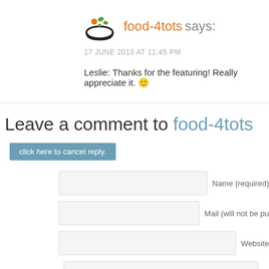[Figure (logo): food-4tots bowl logo icon with orange and green design]
food-4tots says:
17 JUNE 2010 AT 11:45 PM
Leslie: Thanks for the featuring! Really appreciate it. 🙂
Leave a comment to food-4tots
click here to cancel reply.
Name (required)
Mail (will not be pu...
Website